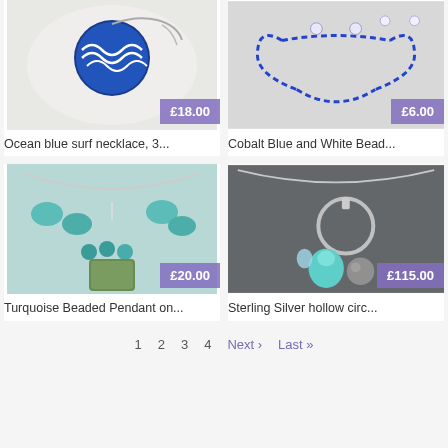[Figure (photo): Ocean blue surf necklace with blue and white ceramic pendant on silver chain, shown in white dish. Price £18.00]
Ocean blue surf necklace, 3...
[Figure (photo): Cobalt blue and white bead necklace arranged in heart shape on grey fabric. Price £6.00]
Cobalt Blue and White Bead...
[Figure (photo): Turquoise beaded pendant necklace with green stone centerpiece on silver chain. Price £20.00]
Turquoise Beaded Pendant on...
[Figure (photo): Sterling silver hollow circle necklace with aqua chalcedony and grey pearl drops. Price £115.00]
Sterling Silver hollow circ...
1
2
3
4
Next ›
Last »